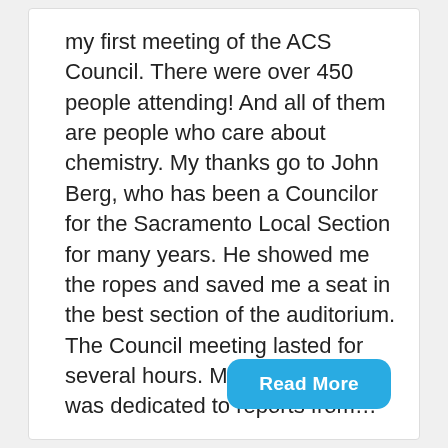my first meeting of the ACS Council. There were over 450 people attending! And all of them are people who care about chemistry. My thanks go to John Berg, who has been a Councilor for the Sacramento Local Section for many years. He showed me the ropes and saved me a seat in the best section of the auditorium. The Council meeting lasted for several hours. Most of the time was dedicated to reports from...
Read More